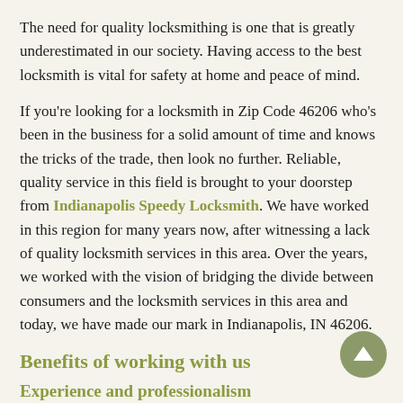The need for quality locksmithing is one that is greatly underestimated in our society. Having access to the best locksmith is vital for safety at home and peace of mind.
If you're looking for a locksmith in Zip Code 46206 who's been in the business for a solid amount of time and knows the tricks of the trade, then look no further. Reliable, quality service in this field is brought to your doorstep from Indianapolis Speedy Locksmith. We have worked in this region for many years now, after witnessing a lack of quality locksmith services in this area. Over the years, we worked with the vision of bridging the divide between consumers and the locksmith services in this area and today, we have made our mark in Indianapolis, IN 46206.
Benefits of working with us
Experience and professionalism
Over the years, we built our business by roping in